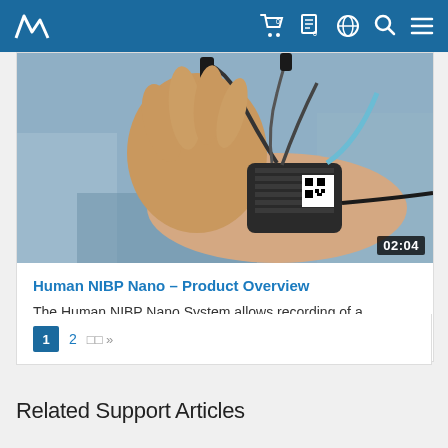Navigation header with logo and icons
[Figure (photo): Close-up photo of a wrist wearing a black NIBP Nano device with multiple cables/connectors, with a video timestamp overlay showing 02:04]
Human NIBP Nano – Product Overview
The Human NIBP Nano System allows recording of a continuous blood pressure signal from an adult...
1  2  »
Related Support Articles